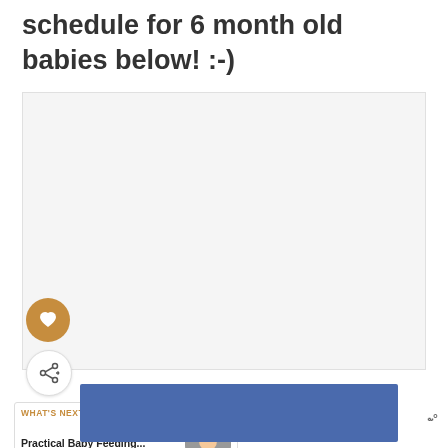schedule for 6 month old babies below! :-)
[Figure (photo): Large light gray placeholder image area for a baby schedule graphic]
[Figure (illustration): Heart (save/like) button - circular brown/gold button with white heart icon]
[Figure (illustration): Share button - circular white button with share icon]
[Figure (screenshot): What's Next promo box showing link to Practical Baby Feeding article with baby thumbnail image]
[Figure (illustration): Blue advertisement banner at the bottom with ad network logo]